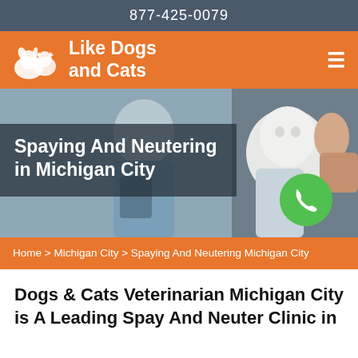877-425-0079
Like Dogs and Cats
[Figure (photo): Veterinarian in blue scrubs holding a white fluffy cat, with a person in background; hero image for spay/neuter clinic page]
Spaying And Neutering in Michigan City
Home > Michigan City > Spaying And Neutering Michigan City
Dogs & Cats Veterinarian Michigan City is A Leading Spay And Neuter Clinic in